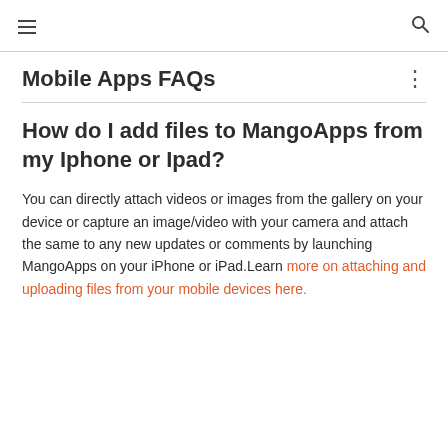≡  🔍
Mobile Apps FAQs
How do I add files to MangoApps from my Iphone or Ipad?
You can directly attach videos or images from the gallery on your device or capture an image/video with your camera and attach the same to any new updates or comments by launching MangoApps on your iPhone or iPad.Learn more on attaching and uploading files from your mobile devices here.